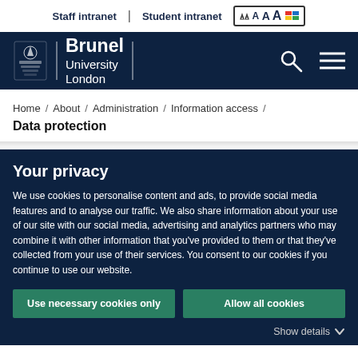Staff intranet | Student intranet
[Figure (logo): Brunel University London logo with crest on dark navy header bar]
Home / About / Administration / Information access /
Data protection
Your privacy
We use cookies to personalise content and ads, to provide social media features and to analyse our traffic. We also share information about your use of our site with our social media, advertising and analytics partners who may combine it with other information that you've provided to them or that they've collected from your use of their services. You consent to our cookies if you continue to use our website.
Use necessary cookies only
Allow all cookies
Show details